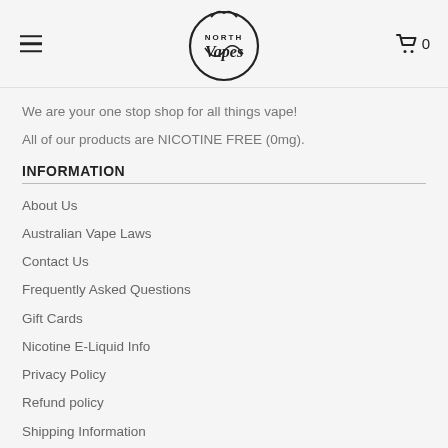North Vapes logo, hamburger menu, cart icon with 0
We are your one stop shop for all things vape!
All of our products are NICOTINE FREE (0mg).
INFORMATION
About Us
Australian Vape Laws
Contact Us
Frequently Asked Questions
Gift Cards
Nicotine E-Liquid Info
Privacy Policy
Refund policy
Shipping Information
Terms of Service
Vaping Blog
Warranty & Returns